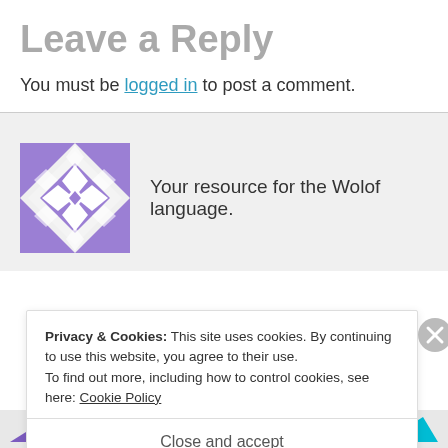Leave a Reply
You must be logged in to post a comment.
[Figure (illustration): Purple geometric snowflake/quilt pattern logo icon followed by tagline text 'Your resource for the Wolof language.']
Privacy & Cookies: This site uses cookies. By continuing to use this website, you agree to their use.
To find out more, including how to control cookies, see here: Cookie Policy
Close and accept